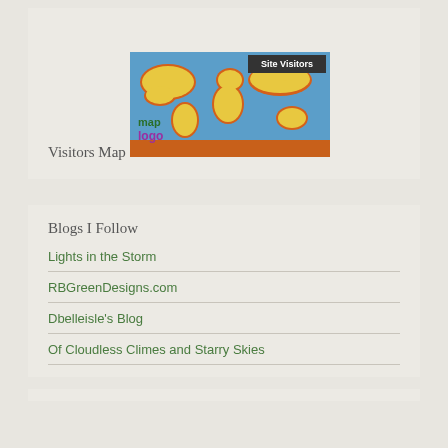Visitors Map
[Figure (map): World map showing site visitors with orange continents on blue ocean background, labeled 'Site Visitors' in top right and 'map logo' in bottom left]
Blogs I Follow
Lights in the Storm
RBGreenDesigns.com
Dbelleisle's Blog
Of Cloudless Climes and Starry Skies